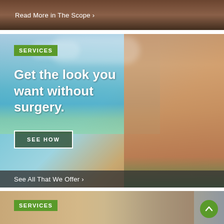[Figure (photo): Top strip showing partial beach/tanning scene with dark overlay]
Read More in The Scope >
[Figure (photo): Woman in green bikini at beach, services promotional banner]
SERVICES
Get the look you want without surgery.
SEE HOW
See All That We Offer >
[Figure (photo): Bottom services strip showing partial close-up face/beauty scene]
SERVICES